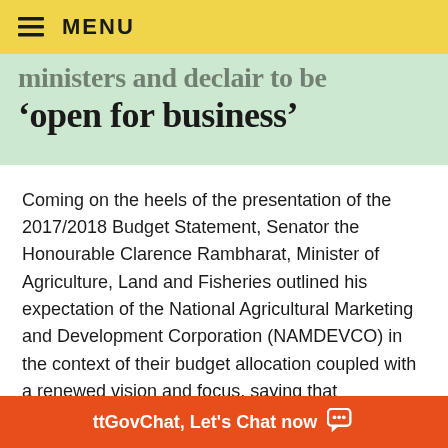≡ MENU
'open for business'
Coming on the heels of the presentation of the 2017/2018 Budget Statement, Senator the Honourable Clarence Rambharat, Minister of Agriculture, Land and Fisheries outlined his expectation of the National Agricultural Marketing and Development Corporation (NAMDEVCO) in the context of their budget allocation coupled with a renewed vision and focus, saying that NAMDEVCO will 'continue to operate its wholesale markets, to expand the farmers markets and play the role betw